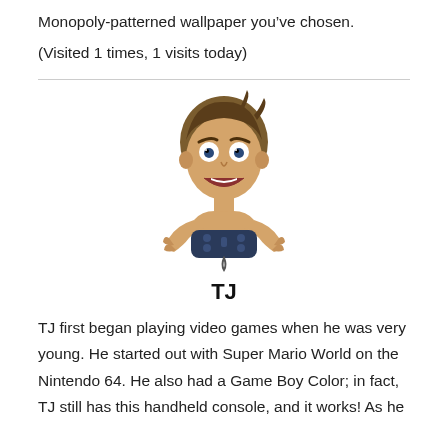Monopoly-patterned wallpaper you’ve chosen.
(Visited 1 times, 1 visits today)
[Figure (illustration): Cartoon illustration of a young man with brown hair holding a game controller with an excited/intense expression on his face.]
TJ
TJ first began playing video games when he was very young. He started out with Super Mario World on the Nintendo 64. He also had a Game Boy Color; in fact, TJ still has this handheld console, and it works! As he